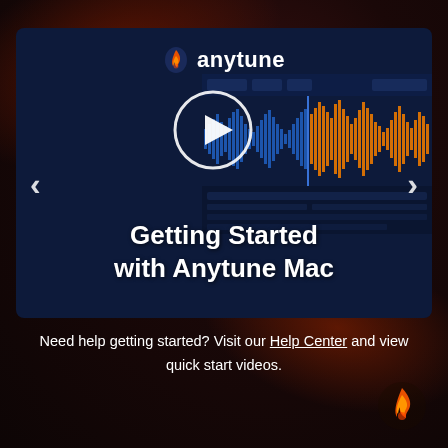[Figure (screenshot): Anytune Mac app promotional card with logo, play button, waveform screenshot, and title 'Getting Started with Anytune Mac']
Need help getting started? Visit our Help Center and view quick start videos.
[Figure (logo): Anytune flame logo in bottom right corner]